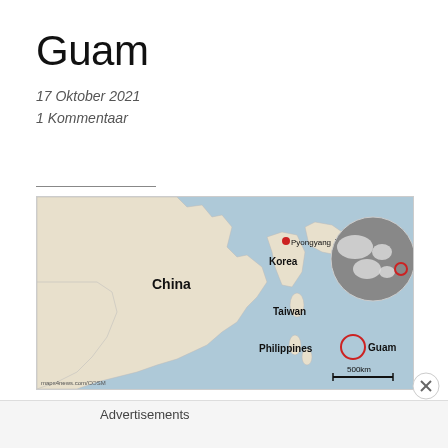Guam
17 Oktober 2021
1 Kommentaar
[Figure (map): Map of East/Southeast Asia showing China, Korea (with Pyongyang marked with red dot), Japan, Taiwan, Philippines, and Guam (marked with red circle). Inset globe in top right showing the region's position. Scale bar showing 500km.]
Advertisements